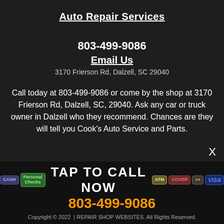Auto Repair Services
803-499-9086
Email Us
3170 Frierson Rd, Dalzell, SC 29040
Call today at 803-499-9086 or come by the shop at 3170 Frierson Rd, Dalzell, SC, 29040. Ask any car or truck owner in Dalzell who they recommend. Chances are they will tell you Cook's Auto Service and Parts.
X
TAP TO CALL NOW
803-499-9086
Copyright © 2022  | REPAIR SHOP WEBSITES. All Rights Reserved.